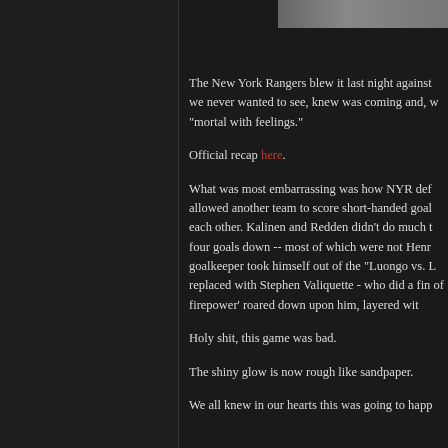[Figure (photo): Partial image strip at top right of page]
The New York Rangers blew it last night against... we never wanted to see, knew was coming and, w... "mortal with feelings."
Official recap here.
What was most embarrassing was how NYR def... allowed another team to score short-handed goal... each other. Kalinen and Redden didn't do much t... four goals down -- most of which were not Henr... goalkeeper took himself out of the "Luongo vs. L... replaced with Stephen Valiquette - who did a fin... of firepower' roared down upon him, layered wit...
Holy shit, this game was bad.
The shiny glow is now rough like sandpaper.
We all knew in our hearts this was going to happ...